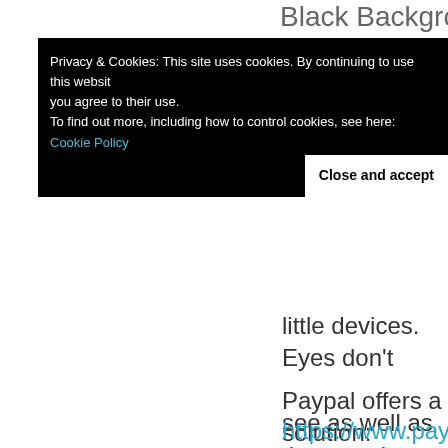Black Background with
Privacy & Cookies: This site uses cookies. By continuing to use this website, you agree to their use.
To find out more, including how to control cookies, see here: Cookie Policy
Close and accept
little devices. Eyes don't see as well as they used to.
Paypal offers a solution:
https://www.paypal.com/bin/?cmd=_donate-intro-outside
Here's a guy who uses it:
http://rexwordpuzzle.blo